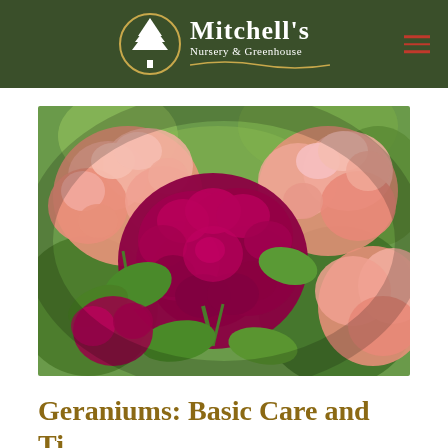Mitchell's Nursery & Greenhouse
[Figure (photo): Close-up photograph of geranium flowers in bloom — vivid magenta/deep pink geraniums in the center foreground, with lighter salmon-pink geraniums surrounding them, set against a backdrop of green foliage.]
Geraniums: Basic Care and Tips